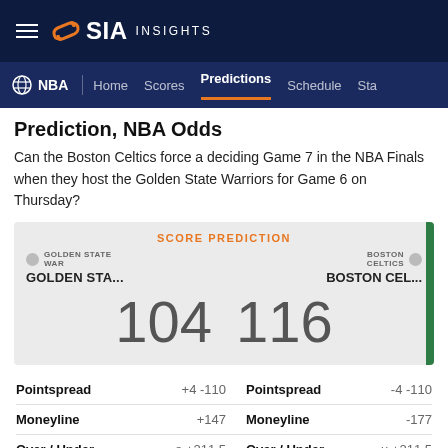SIA INSIGHTS
NBA | Home Scores Predictions Schedule Sta
Prediction, NBA Odds
Can the Boston Celtics force a deciding Game 7 in the NBA Finals when they host the Golden State Warriors for Game 6 on Thursday?
| SCORE PREDICTION |  |  |
| --- | --- | --- |
| GOLDEN STA... | 104 | 116 |
| BOSTON CEL... |  |  |
| Pointspread | +4 -110 | Pointspread | -4 -110 |
| --- | --- | --- | --- |
| Moneyline | +147 | Moneyline | -177 |
| Over / Under | o +211.5 | Over / Under | u +211.5 |
MATCHUP
NBA ODDS